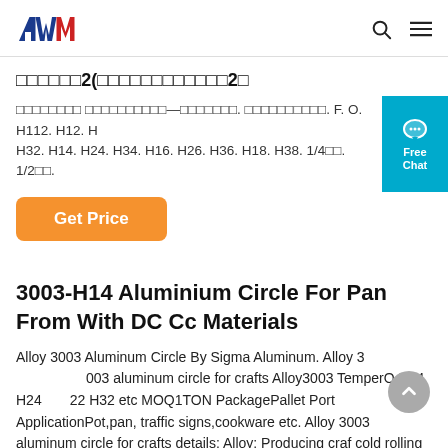AWM logo, search icon, menu icon
□□□□□□2(□□□□□□□□□□□□2□
□□□□□□□□ □□□□□□□□□□—□□□□□□□. □□□□□□□□□□. F. O. H112. H12. H32. H14. H24. H34. H16. H26. H36. H18. H38. 1/4□□. 1/2□□.
Get Price
3003-H14 Aluminium Circle For Pan From With DC Cc Materials
Alloy 3003 Aluminum Circle By Sigma Aluminum. Alloy 3003 aluminum circle for crafts Alloy3003 TemperO H14 H24 H22 H32 etc MOQ1TON PackagePallet Port ApplicationPot,pan, traffic signs,cookware etc. Alloy 3003 aluminum circle for crafts details: Alloy: Producing craf cold rolling Temper: O-H112